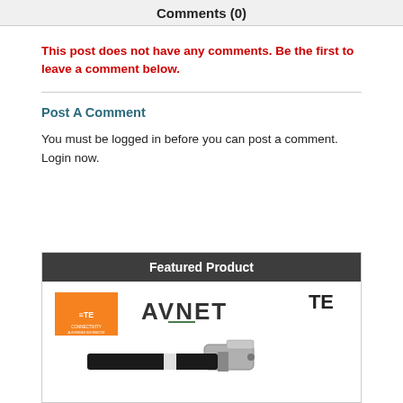Comments (0)
This post does not have any comments. Be the first to leave a comment below.
Post A Comment
You must be logged in before you can post a comment. Login now.
[Figure (other): Featured Product box showing TE Connectivity logo (orange), AVNET logo, TE text, and a coaxial cable connector image]